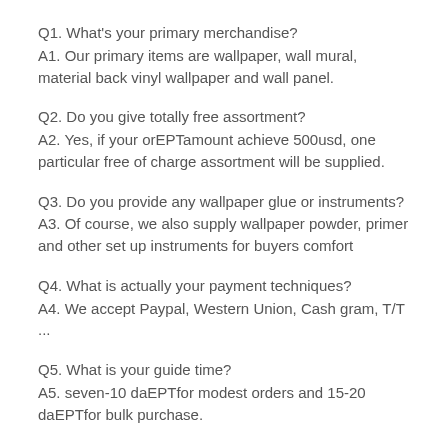Q1. What's your primary merchandise?
A1. Our primary items are wallpaper, wall mural, material back vinyl wallpaper and wall panel.
Q2. Do you give totally free assortment?
A2. Yes, if your orEPTamount achieve 500usd, one particular free of charge assortment will be supplied.
Q3. Do you provide any wallpaper glue or instruments?
A3. Of course, we also supply wallpaper powder, primer and other set up instruments for buyers comfort
Q4. What is actually your payment techniques?
A4. We accept Paypal, Western Union, Cash gram, T/T ...
Q5. What is your guide time?
A5. seven-10 daEPTfor modest orders and 15-20 daEPTfor bulk purchase.